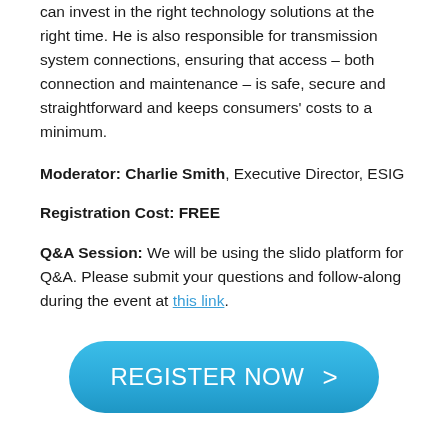can invest in the right technology solutions at the right time. He is also responsible for transmission system connections, ensuring that access – both connection and maintenance – is safe, secure and straightforward and keeps consumers' costs to a minimum.
Moderator: Charlie Smith, Executive Director, ESIG
Registration Cost: FREE
Q&A Session: We will be using the slido platform for Q&A. Please submit your questions and follow-along during the event at this link.
[Figure (other): Blue rounded rectangle button labeled REGISTER NOW with a right-pointing chevron arrow]